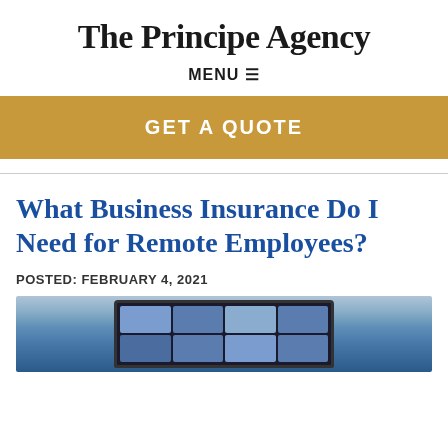The Principe Agency
MENU ≡
[Figure (other): GET A QUOTE button banner in gold/yellow color]
What Business Insurance Do I Need for Remote Employees?
POSTED: FEBRUARY 4, 2021
[Figure (photo): Photo of a laptop screen showing a video conference with multiple participants in a grid layout]